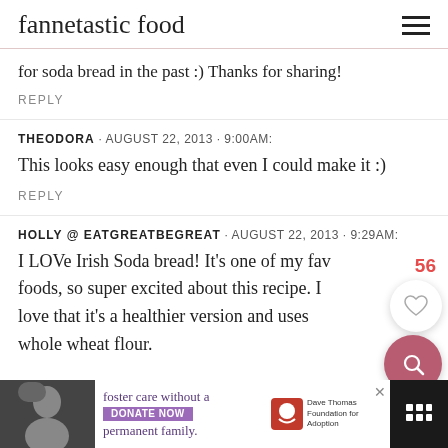fannetastic food
for soda bread in the past :) Thanks for sharing!
REPLY
THEODORA · AUGUST 22, 2013 · 9:00AM:
This looks easy enough that even I could make it :)
REPLY
HOLLY @ EATGREATBEGREAT · AUGUST 22, 2013 · 9:29AM:
I LOVe Irish Soda bread! It's one of my fav foods, so super excited about this recipe. I love that it's a healthier version and uses whole wheat flour.
[Figure (screenshot): Overlay UI buttons: like count '56', heart button (white circle), search button (pink/mauve circle with magnifying glass icon)]
[Figure (screenshot): Advertisement banner at bottom: foster care without a permanent family. Donate Now. Dave Thomas Foundation for Adoption logo. Person photo on left. Menu icon on right.]